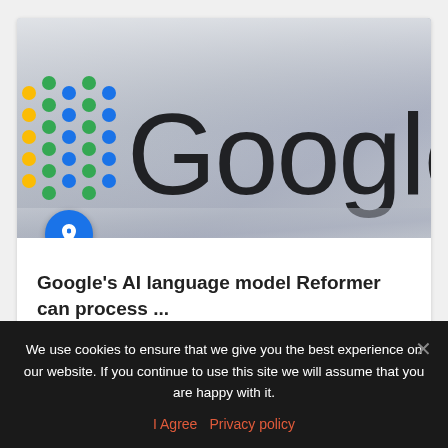[Figure (photo): Photo of Google AI signage with colorful dot grid logo on a metallic background, partially cropped showing 'Google A']
Google's AI language model Reformer can process ...
17/01/2020
We use cookies to ensure that we give you the best experience on our website. If you continue to use this site we will assume that you are happy with it.
I Agree  Privacy policy